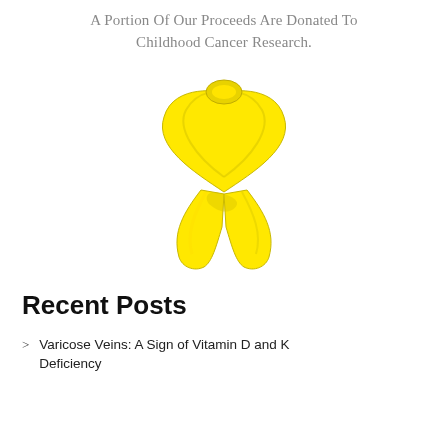A Portion Of Our Proceeds Are Donated To Childhood Cancer Research.
[Figure (illustration): Yellow awareness ribbon for childhood cancer research]
Recent Posts
Varicose Veins: A Sign of Vitamin D and K Deficiency